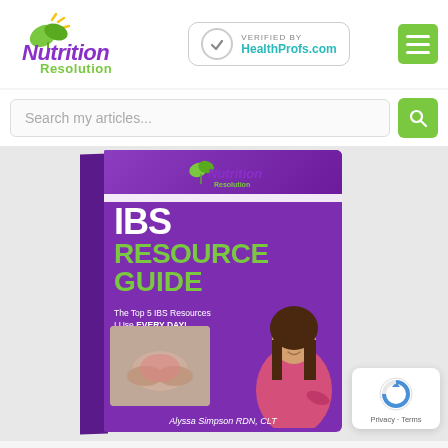[Figure (logo): Nutrition Resolution logo with green leaf and purple/green script text]
[Figure (infographic): Verified by HealthProfs.com badge in rounded rectangle]
[Figure (infographic): Green hamburger menu icon]
Search my articles...
[Figure (photo): IBS Resource Guide book cover showing purple background with 'IBS RESOURCE GUIDE' text, subtitle 'The Top 5 IBS Resources I Use EVERY DAY!', Nutrition Resolution logo, photo of woman with arms crossed (Alyssa Simpson RDN, CLT), and image of person holding stomach. Author name Alyssa Simpson RDN, CLT at bottom.]
[Figure (infographic): reCAPTCHA Privacy - Terms badge in white rounded box]